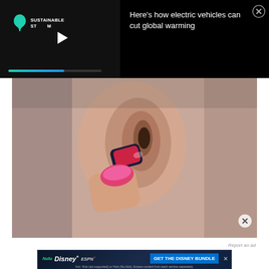[Figure (screenshot): Video overlay with black background. Left side shows 'Sustainable Steam' logo with teal leaf icon and play button. Bottom has a progress bar. Right side shows article title 'Here's how electric vehicles can cut global warming' in white text with a close (X) button.]
[Figure (photo): Close-up photo of a person inserting a small hearing aid device into their ear. The person has a pink painted fingernail. The hearing aid is dark colored with the ear visible in soft focus background.]
Report an ad
[Figure (screenshot): Disney Bundle advertisement banner with dark blue background. Shows Hulu, Disney+, ESPN+ logos on left. Blue CTA button on right reads 'GET THE DISNEY BUNDLE'. Fine print: 'Incl. Hulu (ad-supported) or Hulu (No Ads). Access content from each service separately. ©2021 Disney and its related entities.' Multicolor bar at bottom.]